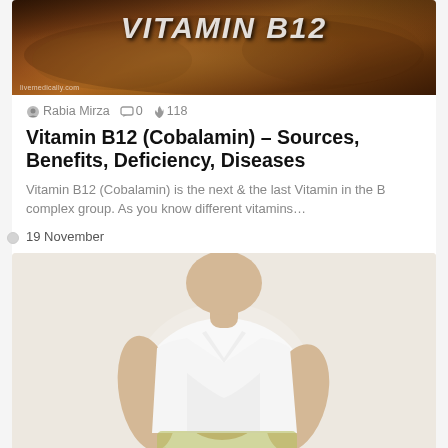[Figure (photo): Photo of grilled/cooked meat dish with 'VITAMIN B12' text overlay, watermark reading livemedically.com]
Rabia Mirza  0  118
Vitamin B12 (Cobalamin) – Sources, Benefits, Deficiency, Diseases
Vitamin B12 (Cobalamin) is the next & the last Vitamin in the B complex group. As you know different vitamins…
19 November
[Figure (photo): Photo of a woman in white t-shirt holding her stomach/abdomen area, suggesting stomach pain or digestive issues]